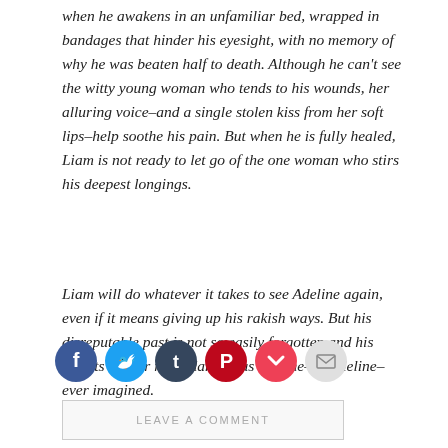when he awakens in an unfamiliar bed, wrapped in bandages that hinder his eyesight, with no memory of why he was beaten half to death. Although he can't see the witty young woman who tends to his wounds, her alluring voice–and a single stolen kiss from her soft lips–help soothe his pain. But when he is fully healed, Liam is not ready to let go of the one woman who stirs his deepest longings.
Liam will do whatever it takes to see Adeline again, even if it means giving up his rakish ways. But his disreputable past is not so easily forgotten and his secrets are far more dangerous than he–or Adeline–ever imagined.
[Figure (infographic): Row of social media sharing icons: Facebook (blue), Twitter (light blue), Tumblr (dark navy), Pinterest (red/crimson), Pocket (red/pink), Email (light gray)]
LEAVE A COMMENT